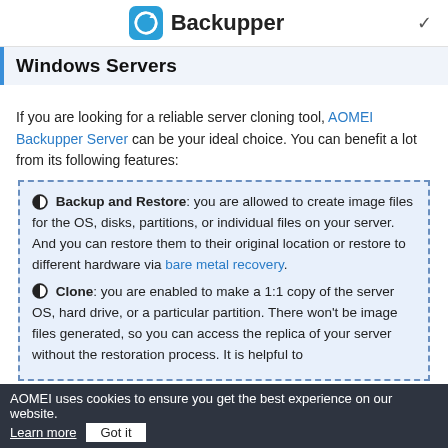Backupper
Windows Servers
If you are looking for a reliable server cloning tool, AOMEI Backupper Server can be your ideal choice. You can benefit a lot from its following features:
Backup and Restore: you are allowed to create image files for the OS, disks, partitions, or individual files on your server. And you can restore them to their original location or restore to different hardware via bare metal recovery.
Clone: you are enabled to make a 1:1 copy of the server OS, hard drive, or a particular partition. There won't be image files generated, so you can access the replica of your server without the restoration process. It is helpful to
AOMEI uses cookies to ensure you get the best experience on our website. Learn more  Got it